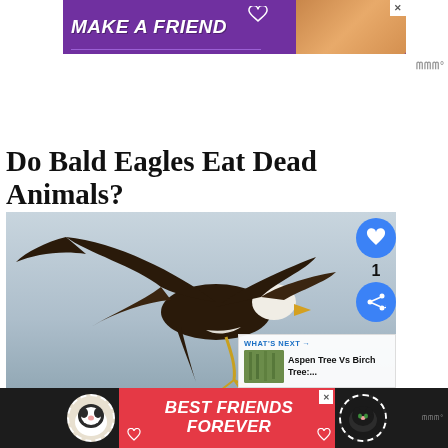[Figure (illustration): Purple advertisement banner reading MAKE A FRIEND with a dog image on the right and a close button]
Do Bald Eagles Eat Dead Animals?
[Figure (photo): Bald eagle in flight with wings spread wide against a grey-blue sky background, with a WHAT'S NEXT overlay showing Aspen Tree Vs Birch Tree:...]
[Figure (illustration): Red advertisement banner at the bottom reading BEST FRIENDS FOREVER with black cats on either side on a dark background]